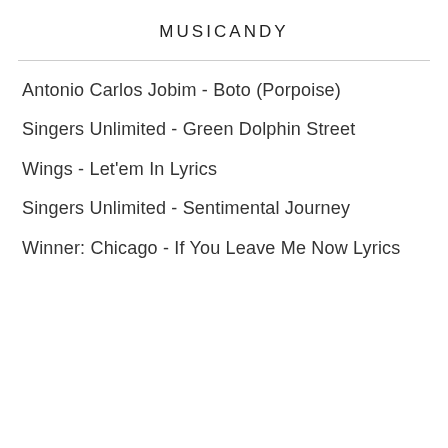MUSICANDY
Antonio Carlos Jobim - Boto (Porpoise)
Singers Unlimited - Green Dolphin Street
Wings - Let'em In Lyrics
Singers Unlimited - Sentimental Journey
Winner: Chicago - If You Leave Me Now Lyrics